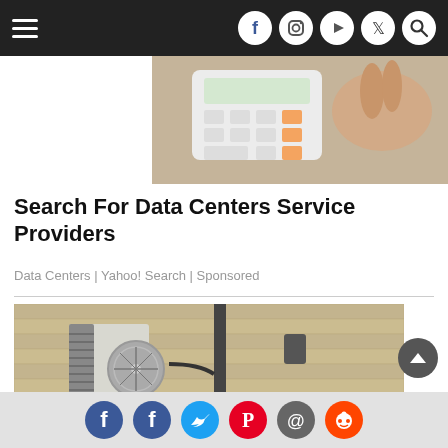Navigation bar with hamburger menu and social icons (Facebook, Instagram, YouTube, Twitter, Search)
[Figure (photo): Photo of a calculator on a desk with papers and a hand in the background]
Search For Data Centers Service Providers
Data Centers | Yahoo! Search | Sponsored
[Figure (photo): Photo of a mini-split air conditioning outdoor unit mounted on a brick wall]
Social share icons: Facebook, Facebook, Twitter, Pinterest, Email, Reddit